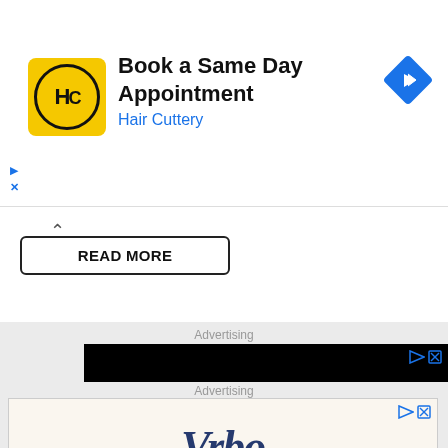[Figure (screenshot): Hair Cuttery advertisement banner: yellow HC logo, 'Book a Same Day Appointment' headline, 'Hair Cuttery' in blue, blue navigation/directions diamond icon on right, small play and X ad controls at lower left]
READ MORE
Advertising
[Figure (screenshot): Black video advertisement block with small play triangle and X controls in upper right corner]
Advertising
[Figure (screenshot): Vrbo advertisement: cream background, Vrbo italic logo in dark navy blue, tagline 'A PLACE FOR TOGETHER', dark navy 'BOOK NOW' pill button]